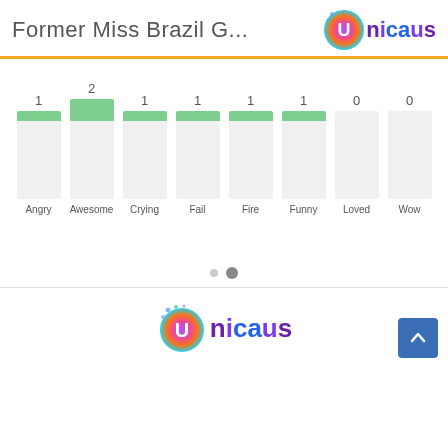Former Miss Brazil G...
[Figure (bar-chart): Reactions]
[Figure (logo): Unicaus logo footer]